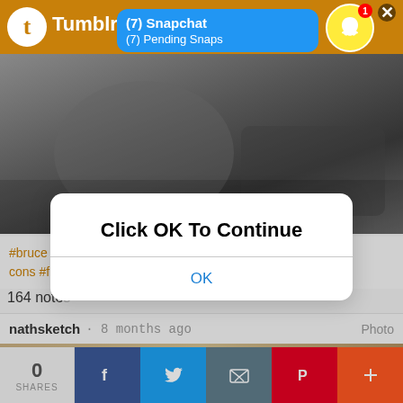[Figure (screenshot): Tumblr mobile app screenshot showing a page with a Snapchat notification banner reading '(7) Snapchat / (7) Pending Snaps', a Snapchat ghost icon badge in top right, a grayscale photo, hashtag tags, '164 notes', attribution to 'nathsketch · 8 months ago Photo', a lower image strip, and a share bar with 0 shares and Facebook, Twitter, email, Pinterest, and more buttons. A modal dialog overlays the content with text 'Click OK To Continue' and an OK button.]